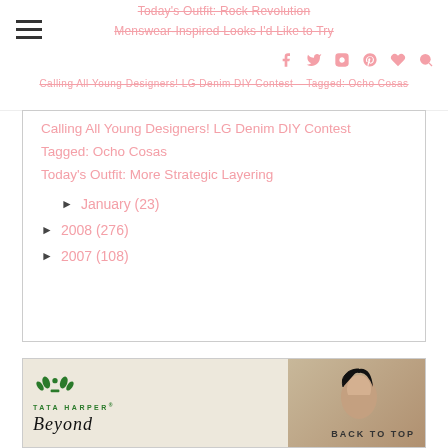Today's Outfit: Rock Revelation | Menswear-Inspired Looks I'd Like to Try
Calling All Young Designers! LG Denim DIY Contest
Tagged: Ocho Cosas
Today's Outfit: More Strategic Layering
► January (23)
► 2008 (276)
► 2007 (108)
[Figure (photo): Tata Harper advertisement showing woman's face and brand logo with 'Beyond' text. BACK TO TOP button visible.]